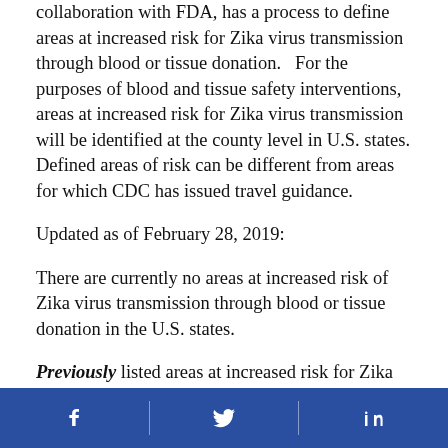collaboration with FDA, has a process to define areas at increased risk for Zika virus transmission through blood or tissue donation.   For the purposes of blood and tissue safety interventions, areas at increased risk for Zika virus transmission will be identified at the county level in U.S. states. Defined areas of risk can be different from areas for which CDC has issued travel guidance.
Updated as of February 28, 2019:
There are currently no areas at increased risk of Zika virus transmission through blood or tissue donation in the U.S. states.
Previously listed areas at increased risk for Zika virus transmission through blood or
Social media links: Facebook, Twitter, LinkedIn